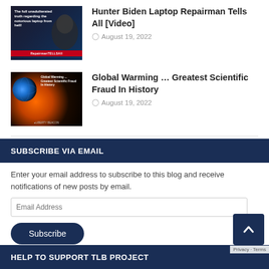[Figure (screenshot): Thumbnail image for Hunter Biden Laptop article showing a man's face with dark background and red label]
Hunter Biden Laptop Repairman Tells All [Video]
August 19, 2022
[Figure (screenshot): Thumbnail image for Global Warming article showing Earth from space with orange glow and text overlay]
Global Warming … Greatest Scientific Fraud In History
August 19, 2022
SUBSCRIBE VIA EMAIL
Enter your email address to subscribe to this blog and receive notifications of new posts by email.
HELP TO SUPPORT TLB PROJECT